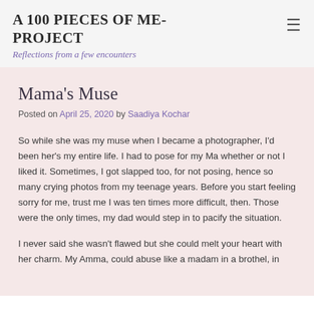A 100 PIECES OF ME- PROJECT
Reflections from a few encounters
Mama's Muse
Posted on April 25, 2020 by Saadiya Kochar
So while she was my muse when I became a photographer, I'd been her's my entire life. I had to pose for my Ma whether or not I liked it. Sometimes, I got slapped too, for not posing, hence so many crying photos from my teenage years. Before you start feeling sorry for me, trust me I was ten times more difficult, then. Those were the only times, my dad would step in to pacify the situation.
I never said she wasn't flawed but she could melt your heart with her charm. My Amma, could abuse like a madam in a brothel, in